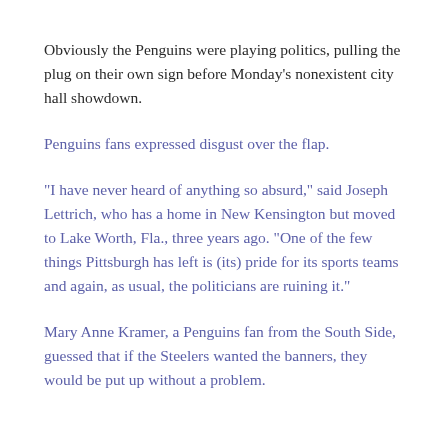Obviously the Penguins were playing politics, pulling the plug on their own sign before Monday’s nonexistent city hall showdown.
Penguins fans expressed disgust over the flap.
“I have never heard of anything so absurd,” said Joseph Lettrich, who has a home in New Kensington but moved to Lake Worth, Fla., three years ago. “One of the few things Pittsburgh has left is (its) pride for its sports teams and again, as usual, the politicians are ruining it.”
Mary Anne Kramer, a Penguins fan from the South Side, guessed that if the Steelers wanted the banners, they would be put up without a problem.